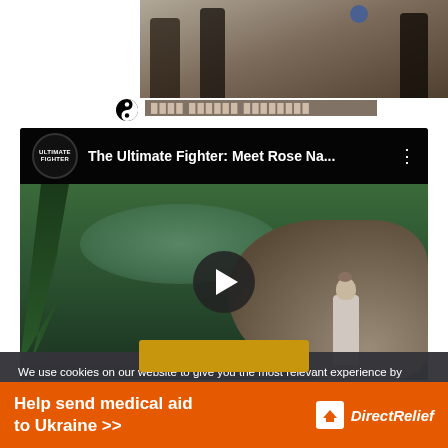[Figure (screenshot): Top portion of a webpage showing a partial photo of people and a yin-yang icon with overlay text bar]
[Figure (screenshot): YouTube video embed showing 'The Ultimate Fighter: Meet Rose Na...' with a play button overlay, scenic outdoor background with trees and rocks, woman sitting on boulder]
We use cookies on our website to give you the most relevant experience by remembering your preferences and repeat visits. By clicking “Accept”, you consent to the use of ALL the cookies.
[Figure (screenshot): Advertisement banner: Help send medical aid to Ukraine >> Direct Relief logo]